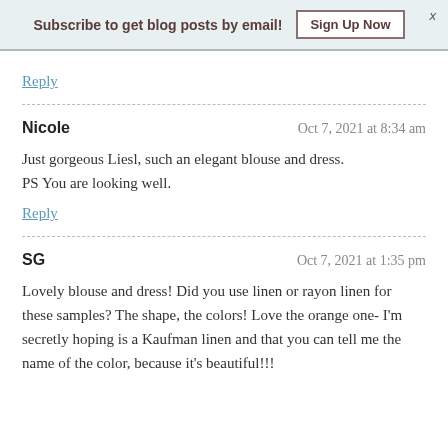Subscribe to get blog posts by email! Sign Up Now  x
Reply
Nicole   Oct 7, 2021 at 8:34 am
Just gorgeous Liesl, such an elegant blouse and dress.
PS You are looking well.
Reply
SG   Oct 7, 2021 at 1:35 pm
Lovely blouse and dress! Did you use linen or rayon linen for these samples? The shape, the colors! Love the orange one- I'm secretly hoping is a Kaufman linen and that you can tell me the name of the color, because it's beautiful!!!